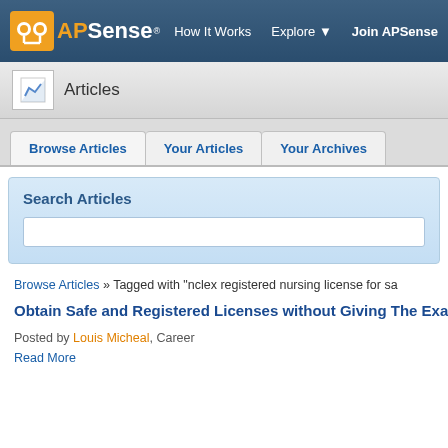[Figure (screenshot): APSense website navigation bar with logo, 'How It Works', 'Explore', and 'Join APSense' links]
APSense | How It Works | Explore | Join APSense
Articles
Browse Articles | Your Articles | Your Archives
Search Articles
Browse Articles » Tagged with "nclex registered nursing license for sa
Obtain Safe and Registered Licenses without Giving The Examina
Posted by Louis Micheal, Career
Read More